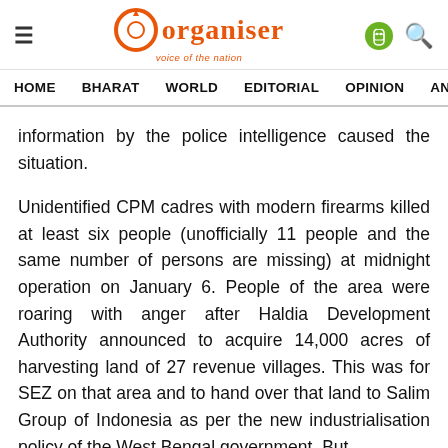Organiser — voice of the nation
HOME  BHARAT  WORLD  EDITORIAL  OPINION  ANA
information by the police intelligence caused the situation.
Unidentified CPM cadres with modern firearms killed at least six people (unofficially 11 people and the same number of persons are missing) at midnight operation on January 6. People of the area were roaring with anger after Haldia Development Authority announced to acquire 14,000 acres of harvesting land of 27 revenue villages. This was for SEZ on that area and to hand over that land to Salim Group of Indonesia as per the new industrialisation policy of the West Bengal government. But